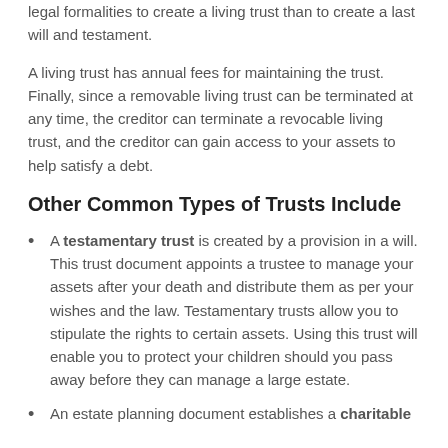legal formalities to create a living trust than to create a last will and testament.
A living trust has annual fees for maintaining the trust. Finally, since a removable living trust can be terminated at any time, the creditor can terminate a revocable living trust, and the creditor can gain access to your assets to help satisfy a debt.
Other Common Types of Trusts Include
A testamentary trust is created by a provision in a will. This trust document appoints a trustee to manage your assets after your death and distribute them as per your wishes and the law. Testamentary trusts allow you to stipulate the rights to certain assets. Using this trust will enable you to protect your children should you pass away before they can manage a large estate.
An estate planning document establishes a charitable